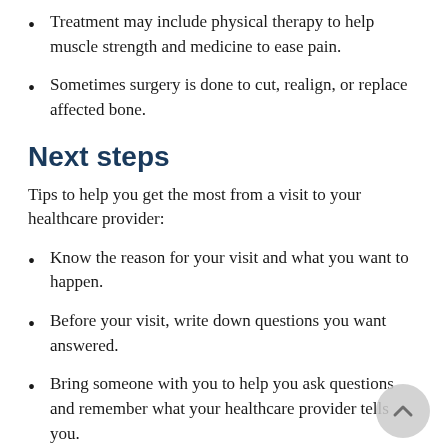Treatment may include physical therapy to help muscle strength and medicine to ease pain.
Sometimes surgery is done to cut, realign, or replace affected bone.
Next steps
Tips to help you get the most from a visit to your healthcare provider:
Know the reason for your visit and what you want to happen.
Before your visit, write down questions you want answered.
Bring someone with you to help you ask questions and remember what your healthcare provider tells you.
At the visit, write down the name of a new